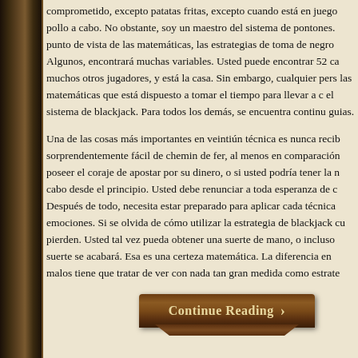comprometido, excepto patatas fritas, excepto cuando está en juego pollo a cabo. No obstante, soy un maestro del sistema de pontones. punto de vista de las matemáticas, las estrategias de toma de negro Algunos, encontrará muchas variables. Usted puede encontrar 52 ca muchos otros jugadores, y está la casa. Sin embargo, cualquier pers las matemáticas que está dispuesto a tomar el tiempo para llevar a c el sistema de blackjack. Para todos los demás, se encuentra continu guias.
Una de las cosas más importantes en veintiún técnica es nunca recib sorprendentemente fácil de chemin de fer, al menos en comparación poseer el coraje de apostar por su dinero, o si usted podría tener la n cabo desde el principio. Usted debe renunciar a toda esperanza de c Después de todo, necesita estar preparado para aplicar cada técnica emociones. Si se olvida de cómo utilizar la estrategia de blackjack cu pierden. Usted tal vez pueda obtener una suerte de mano, o incluso suerte se acabará. Esa es una certeza matemática. La diferencia en malos tiene que tratar de ver con nada tan gran medida como estrate
Continue Reading ›